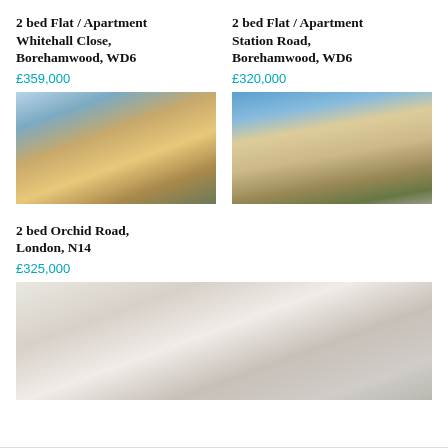2 bed Flat / Apartment Whitehall Close, Borehamwood, WD6
£359,000
[Figure (photo): Exterior photo of a multi-storey brick apartment building with balconies]
2 bed Flat / Apartment Station Road, Borehamwood, WD6
£320,000
[Figure (photo): Exterior photo of a large apartment complex with car park in foreground]
2 bed Orchid Road, London, N14
£325,000
[Figure (photo): Interior photo of a bright modern living room with sofa and fireplace]